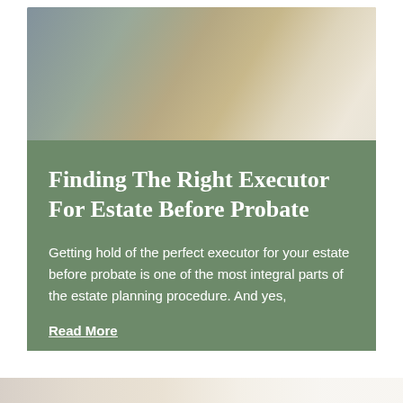[Figure (photo): A person reviewing documents at a desk with papers and a coffee cup, viewed from above]
Finding The Right Executor For Estate Before Probate
Getting hold of the perfect executor for your estate before probate is one of the most integral parts of the estate planning procedure. And yes,
Read More